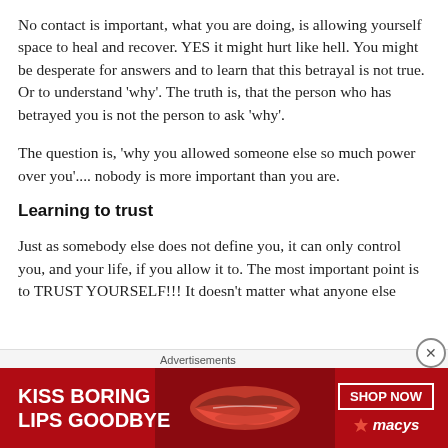No contact is important, what you are doing, is allowing yourself space to heal and recover. YES it might hurt like hell. You might be desperate for answers and to learn that this betrayal is not true. Or to understand 'why'. The truth is, that the person who has betrayed you is not the person to ask 'why'.
The question is, 'why you allowed someone else so much power over you'.... nobody is more important than you are.
Learning to trust
Just as somebody else does not define you, it can only control you, and your life, if you allow it to. The most important point is to TRUST YOURSELF!!! It doesn't matter what anyone else
[Figure (screenshot): Advertisement banner for Macy's: 'KISS BORING LIPS GOODBYE' with a photo of a woman's lips and a 'SHOP NOW' button with Macy's star logo]